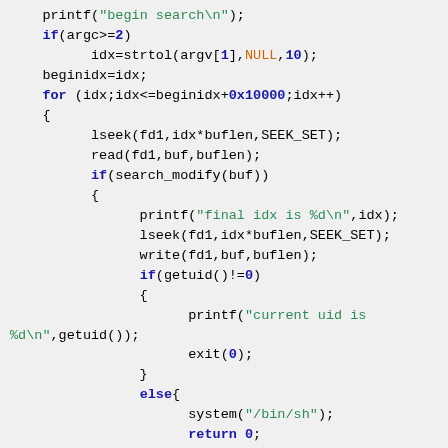[Figure (other): C source code snippet showing a search loop with printf, lseek, read, write, and system calls, with syntax highlighting (keywords in blue/bold, strings in green, numbers in blue/bold, NULL in orange)]